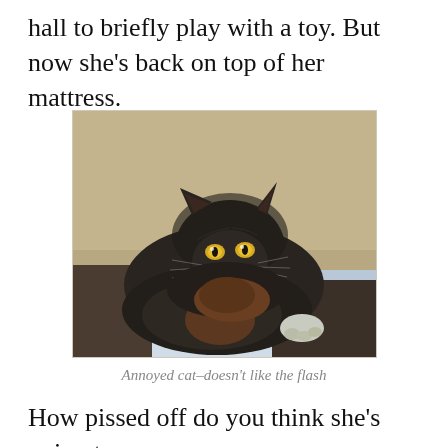hall to briefly play with a toy. But now she's back on top of her mattress.
[Figure (photo): A dark fluffy cat with glowing eyes lying on a white mattress, looking directly at the camera with an annoyed expression. Background is a tan/beige wall.]
Annoyed cat–doesn't like the flash
How pissed off do you think she's going to